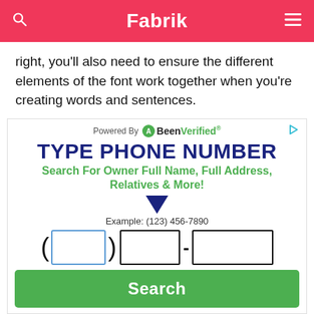Fabrik
right, you'll also need to ensure the different elements of the font work together when you're creating words and sentences.
[Figure (screenshot): BeenVerified advertisement: 'TYPE PHONE NUMBER — Search For Owner Full Name, Full Address, Relatives & More!' with phone number input fields and a green Search button.]
Tracking and leading, alongside kerning, are essential